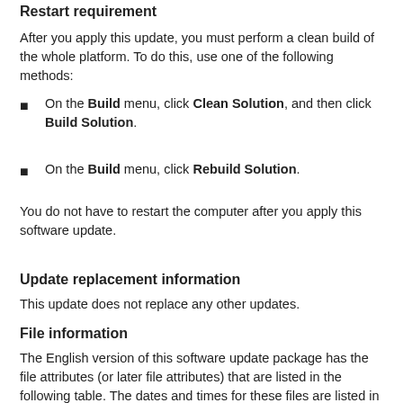Restart requirement
After you apply this update, you must perform a clean build of the whole platform. To do this, use one of the following methods:
On the Build menu, click Clean Solution, and then click Build Solution.
On the Build menu, click Rebuild Solution.
You do not have to restart the computer after you apply this software update.
Update replacement information
This update does not replace any other updates.
File information
The English version of this software update package has the file attributes (or later file attributes) that are listed in the following table. The dates and times for these files are listed in